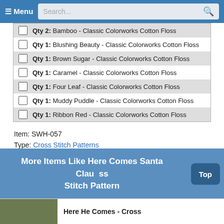≡ Menu  Search...
Qty 2: Bamboo - Classic Colorworks Cotton Floss
Qty 1: Blushing Beauty - Classic Colorworks Cotton Floss
Qty 1: Brown Sugar - Classic Colorworks Cotton Floss
Qty 1: Caramel - Classic Colorworks Cotton Floss
Qty 1: Four Leaf - Classic Colorworks Cotton Floss
Qty 1: Muddy Puddle - Classic Colorworks Cotton Floss
Qty 1: Ribbon Red - Classic Colorworks Cotton Floss
Item: SWH-057
Type: Cross Stitch Patterns
Designer: Stitching with the Housewives
Model stitched on 28 ct. Black Evenweave using Classic Colorworks. Stitch count is 98 x 110.
More Items Like Here Comes Santa Claus Cross Stitch Pattern
Here He Comes - Cross